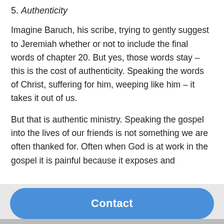5. Authenticity
Imagine Baruch, his scribe, trying to gently suggest to Jeremiah whether or not to include the final words of chapter 20. But yes, those words stay – this is the cost of authenticity. Speaking the words of Christ, suffering for him, weeping like him – it takes it out of us.
But that is authentic ministry. Speaking the gospel into the lives of our friends is not something we are often thanked for. Often when God is at work in the gospel it is painful because it exposes and
Contact